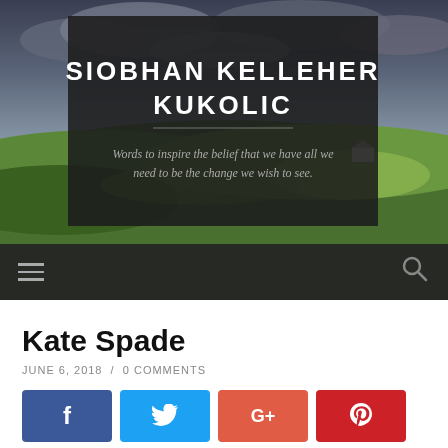[Figure (photo): Blog header with scenic Irish countryside landscape showing green rolling hills, farmhouse, and dramatic cloudy sky, overlaid with a dark semi-transparent box containing the site title and tagline]
SIOBHAN KELLEHER KUKOLIC
Words to inspire the belief that we have all we need to be the change we wish to see.
Navigation bar with hamburger menu and search icon
Kate Spade
JUNE 6, 2018 / 0 COMMENTS
[Figure (infographic): Row of social share buttons: Facebook (blue), Twitter (sky blue), Google+ (orange-red), Pinterest (red)]